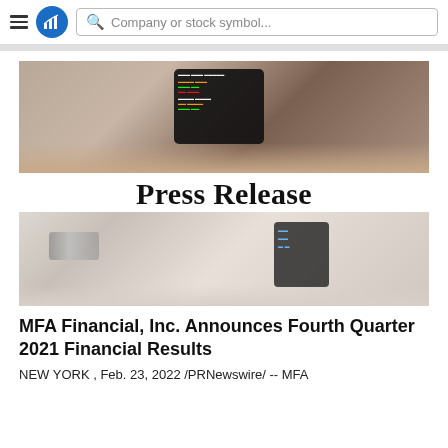Company or stock symbol...
[Figure (photo): Person holding a smartphone displaying a stock trading app with colorful financial data on a dark screen, with a laptop in the background]
Press Release
[Figure (photo): Person wearing a watch and business attire using a smartphone, held in both hands against a light background]
MFA Financial, Inc. Announces Fourth Quarter 2021 Financial Results
NEW YORK , Feb. 23, 2022 /PRNewswire/ -- MFA